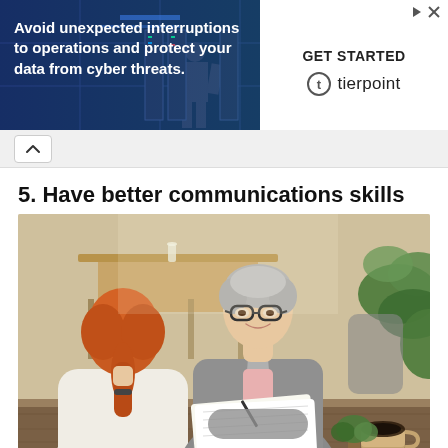[Figure (infographic): Advertisement banner for TierPoint: dark blue background with silhouette of person in data center on left, text 'Avoid unexpected interruptions to operations and protect your data from cyber threats.' White panel on right with GET STARTED and TierPoint logo.]
5. Have better communications skills
[Figure (photo): Two women sitting across from each other at a wooden table in a modern cafe or office setting. One woman with grey hair wearing glasses and a grey blazer holds a notebook and pen, smiling. The other woman with red hair in a ponytail has her back to the camera. Green plants and cafe tables visible in background.]